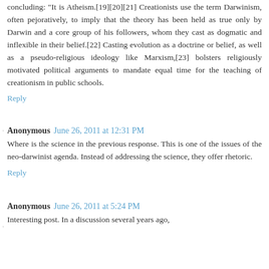concluding: "It is Atheism.[19][20][21] Creationists use the term Darwinism, often pejoratively, to imply that the theory has been held as true only by Darwin and a core group of his followers, whom they cast as dogmatic and inflexible in their belief.[22] Casting evolution as a doctrine or belief, as well as a pseudo-religious ideology like Marxism,[23] bolsters religiously motivated political arguments to mandate equal time for the teaching of creationism in public schools.
Reply
Anonymous June 26, 2011 at 12:31 PM
Where is the science in the previous response. This is one of the issues of the neo-darwinist agenda. Instead of addressing the science, they offer rhetoric.
Reply
Anonymous June 26, 2011 at 5:24 PM
Interesting post. In a discussion several years ago,